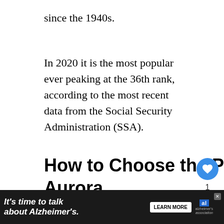since the 1940s.
In 2020 it is the most popular ever peaking at the 36th rank, according to the most recent data from the Social Security Administration (SSA).
How to Choose the Perfect Middle Name for Aurora
The most appropriate middle name for Aurora is the one that blends nicely with her first and last names. For example,
[Figure (infographic): Sidebar UI with heart icon button (blue circle), count label '1', and share icon button. Plus a 'What's Next' widget showing a thumbnail image and text 'Newborn Leg Shaking: Wh...']
[Figure (infographic): Advertisement banner: dark background with text "It's time to talk about Alzheimer's." and LEARN MORE button and Alzheimer's Association logo with close X button]